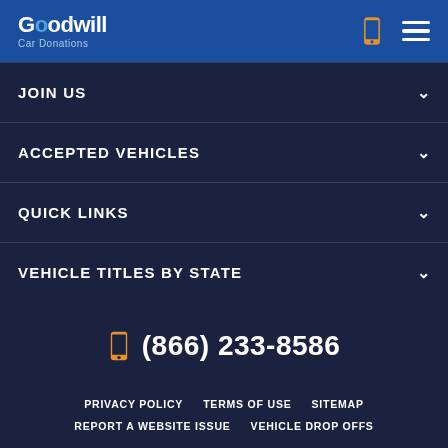Goodwill Car Donations
JOIN US
ACCEPTED VEHICLES
QUICK LINKS
VEHICLE TITLES BY STATE
(866) 233-8586
PRIVACY POLICY   TERMS OF USE   SITEMAP   REPORT A WEBSITE ISSUE   VEHICLE DROP OFFS